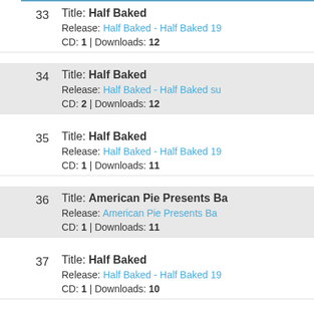33 Title: Half Baked | Release: Half Baked - Half Baked 19... | CD: 1 | Downloads: 12
34 Title: Half Baked | Release: Half Baked - Half Baked su... | CD: 2 | Downloads: 12
35 Title: Half Baked | Release: Half Baked - Half Baked 19... | CD: 1 | Downloads: 11
36 Title: American Pie Presents Ba... | Release: American Pie Presents Ba... | CD: 1 | Downloads: 11
37 Title: Half Baked | Release: Half Baked - Half Baked 19... | CD: 1 | Downloads: 10
38 Title: Half Baked | Release: Half Baked - Half Baked su... | CD: 1 | Downloads: 10
39 Title: Half Baked